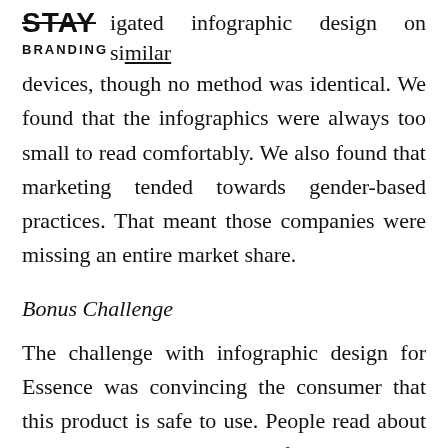STAY BRANDING
We investigated infographic design on similar devices, though no method was identical. We found that the infographics were always too small to read comfortably. We also found that marketing tended towards gender-based practices. That meant those companies were missing an entire market share.
Bonus Challenge
The challenge with infographic design for Essence was convincing the consumer that this product is safe to use. People read about how there will be electricity flowing through their bodies, which provokes a fear response. The infographic design needed to overcome the